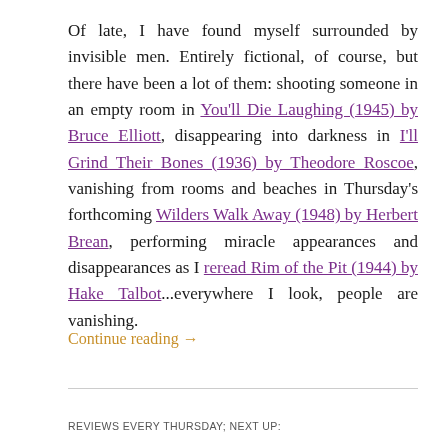Of late, I have found myself surrounded by invisible men. Entirely fictional, of course, but there have been a lot of them: shooting someone in an empty room in You'll Die Laughing (1945) by Bruce Elliott, disappearing into darkness in I'll Grind Their Bones (1936) by Theodore Roscoe, vanishing from rooms and beaches in Thursday's forthcoming Wilders Walk Away (1948) by Herbert Brean, performing miracle appearances and disappearances as I reread Rim of the Pit (1944) by Hake Talbot...everywhere I look, people are vanishing.
Continue reading →
REVIEWS EVERY THURSDAY; NEXT UP: